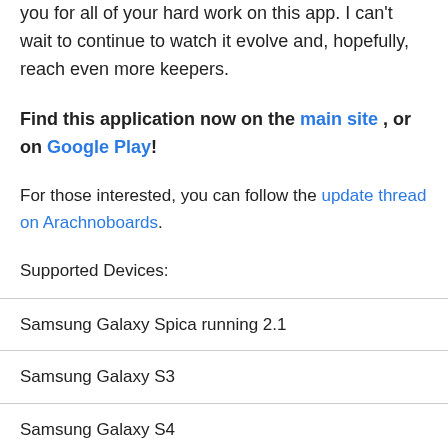you for all of your hard work on this app. I can't wait to continue to watch it evolve and, hopefully, reach even more keepers.
Find this application now on the main site , or on Google Play!
For those interested, you can follow the update thread on Arachnoboards.
Supported Devices:
Samsung Galaxy Spica running 2.1
Samsung Galaxy S3
Samsung Galaxy S4